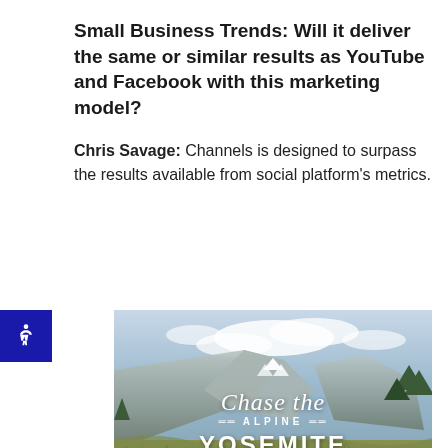Small Business Trends: Will it deliver the same or similar results as YouTube and Facebook with this marketing model?
Chris Savage: Channels is designed to surpass the results available from social platform's metrics.
[Figure (photo): Photo of Yosemite National Park with mountains and trees, overlaid with white text reading 'Chase the ALPINE YOSEMITE NATIONAL PARK' with a mountain icon]